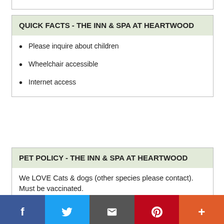QUICK FACTS - THE INN & SPA AT HEARTWOOD
Please inquire about children
Wheelchair accessible
Internet access
PET POLICY - THE INN & SPA AT HEARTWOOD
We LOVE Cats & dogs (other species please contact). Must be vaccinated.
[Figure (other): Social media share bar with Facebook, Twitter, email, Pinterest, and more buttons in blue, light blue, gray, red, and orange.]